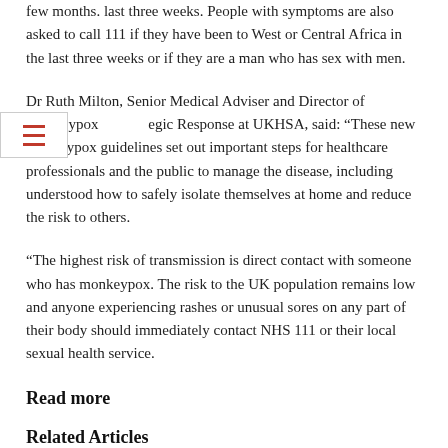few months. last three weeks. People with symptoms are also asked to call 111 if they have been to West or Central Africa in the last three weeks or if they are a man who has sex with men.
Dr Ruth Milton, Senior Medical Adviser and Director of Monkeypox Strategic Response at UKHSA, said: “These new monkeypox guidelines set out important steps for healthcare professionals and the public to manage the disease, including understood how to safely isolate themselves at home and reduce the risk to others.
“The highest risk of transmission is direct contact with someone who has monkeypox. The risk to the UK population remains low and anyone experiencing rashes or unusual sores on any part of their body should immediately contact NHS 111 or their local sexual health service.
Read more
Related Articles